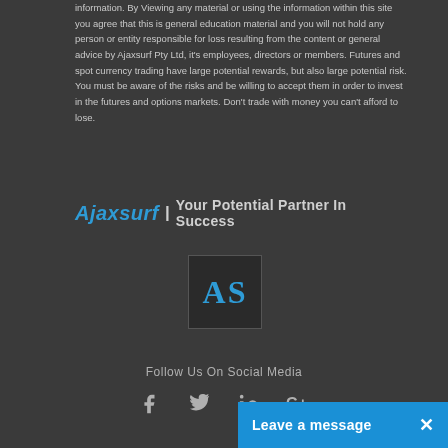information. By Viewing any material or using the information within this site you agree that this is general education material and you will not hold any person or entity responsible for loss resulting from the content or general advice by Ajaxsurf Pty Ltd, it's employees, directors or members. Futures and spot currency trading have large potential rewards, but also large potential risk. You must be aware of the risks and be willing to accept them in order to invest in the futures and options markets. Don't trade with money you can't afford to lose.
Ajaxsurf | Your Potential Partner In Success
[Figure (logo): Ajaxsurf logo — dark square with 'AS' in blue serif text]
Follow Us On Social Media
[Figure (infographic): Social media icons: Facebook, Twitter, LinkedIn, Google+]
Leave a message